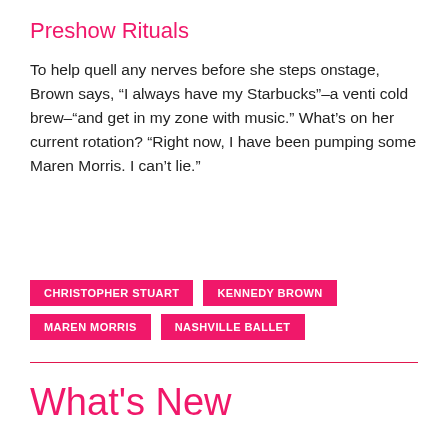Preshow Rituals
To help quell any nerves before she steps onstage, Brown says, “I always have my Starbucks”–a venti cold brew–“and get in my zone with music.” What’s on her current rotation? “Right now, I have been pumping some Maren Morris. I can’t lie.”
CHRISTOPHER STUART
KENNEDY BROWN
MAREN MORRIS
NASHVILLE BALLET
What's New